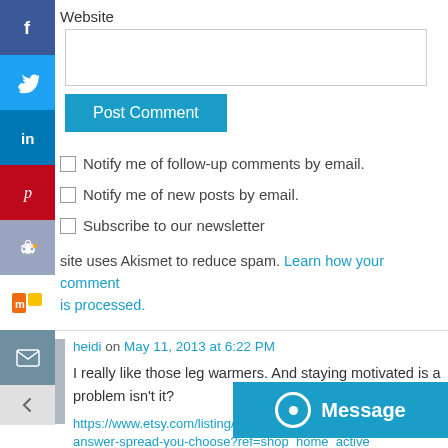Website
Post Comment
Notify me of follow-up comments by email.
Notify me of new posts by email.
Subscribe to our newsletter
This site uses Akismet to reduce spam. Learn how your comment data is processed.
heidi on May 11, 2013 at 6:22 PM
I really like those leg warmers. And staying motivated is a problem isn't it?
https://www.etsy.com/listing/100... answer-spread-you-choose?ref=shop_home_active
[Figure (screenshot): Social media share sidebar with Facebook, Twitter, LinkedIn, Pinterest, Reddit, Mix, and Email buttons on the left edge]
[Figure (screenshot): Message chat button overlay in bottom right]